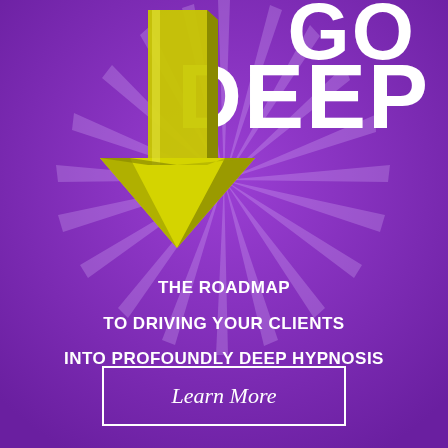GO DEEP
[Figure (illustration): Large yellow 3D downward-pointing arrow centered on purple background with radiating light rays burst pattern]
THE ROADMAP
TO DRIVING YOUR CLIENTS
INTO PROFOUNDLY DEEP HYPNOSIS
Learn More